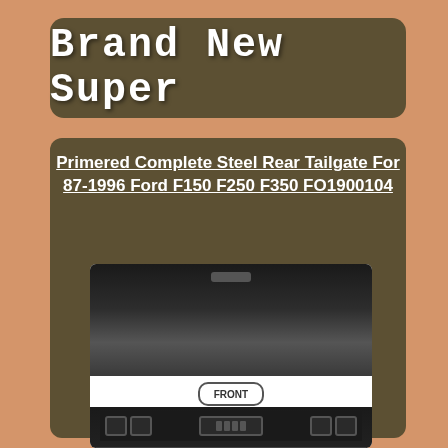Brand New Super
Primered Complete Steel Rear Tailgate For 87-1996 Ford F150 F250 F350 FO1900104
[Figure (photo): Product photo showing front and back views of a primered steel rear tailgate for 87-1996 Ford F150 F250 F350, with FRONT and BACK labels]